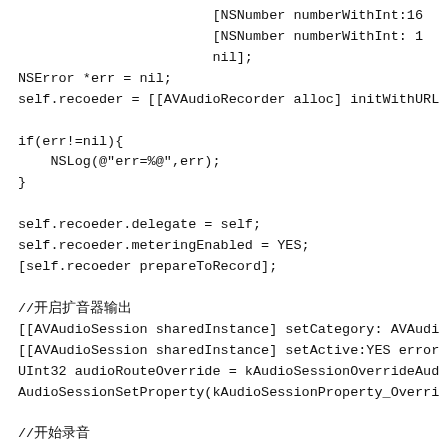Code listing showing Objective-C audio recording setup with NSNumber, NSError, AVAudioRecorder, AVAudioSession, and related API calls.